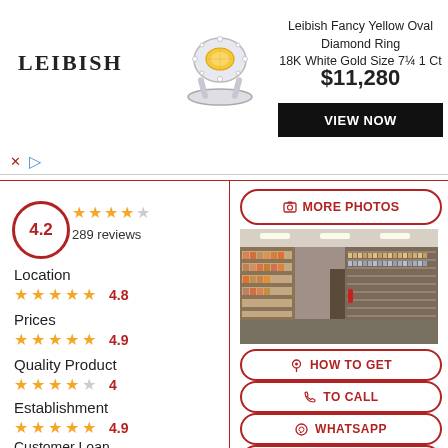[Figure (screenshot): Advertisement banner: Leibish brand logo, fancy yellow oval diamond ring image, product title 'Leibish Fancy Yellow Oval Diamond Ring 18K White Gold Size 7¼ 1 Ct', price $11,280, VIEW NOW button]
4.2
289 reviews
Location
4.8
Prices
4.9
Quality Product
4
Establishment
4.9
Customer Loan
4
[Figure (photo): Interior of a hardware or parts store showing shelves filled with products on both sides of an aisle]
MORE PHOTOS
HOW TO GET
TO CALL
WHATSAPP
WEB PAGE